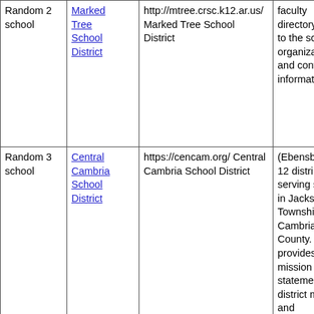|  | LINK | URI & TITLE |  |
| --- | --- | --- | --- |
| Random 2 school | Marked Tree School District | http://mtree.crsc.k12.ar.us/ Marked Tree School District | faculty directory to the sc organiza and cont informat |
| Random 3 school | Central Cambria School District | https://cencam.org/ Central Cambria School District | (Ebensb 12 distri serving s in Jacks Townshi Cambria County. provides mission statemen district m and announc cafeteria menus, calendar school si |
|  | LINK | URI & TITLE |  |